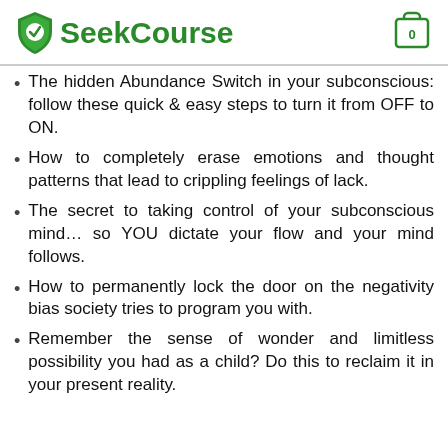SeekCourse
The hidden Abundance Switch in your subconscious: follow these quick & easy steps to turn it from OFF to ON.
How to completely erase emotions and thought patterns that lead to crippling feelings of lack.
The secret to taking control of your subconscious mind… so YOU dictate your flow and your mind follows.
How to permanently lock the door on the negativity bias society tries to program you with.
Remember the sense of wonder and limitless possibility you had as a child? Do this to reclaim it in your present reality.